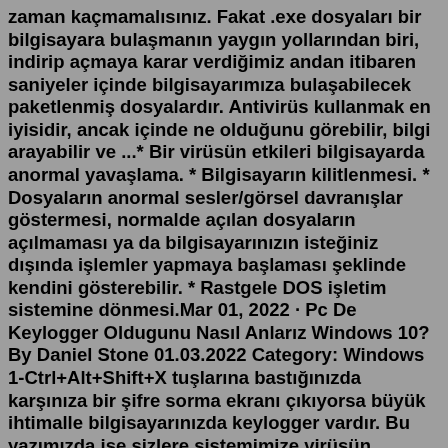zaman kaçmamalısınız. Fakat .exe dosyaları bir bilgisayara bulaşmanın yaygın yollarından biri, indirip açmaya karar verdiğimiz andan itibaren saniyeler içinde bilgisayarımıza bulaşabilecek paketlenmiş dosyalardır. Antivirüs kullanmak en iyisidir, ancak içinde ne olduğunu görebilir, bilgi arayabilir ve ...* Bir virüsün etkileri bilgisayarda anormal yavaşlama. * Bilgisayarın kilitlenmesi. * Dosyaların anormal sesler/görsel davranışlar göstermesi, normalde açılan dosyaların açılmaması ya da bilgisayarınızın isteğiniz dışında işlemler yapmaya başlaması şeklinde kendini gösterebilir. * Rastgele DOS işletim sistemine dönmesi.Mar 01, 2022 · Pc De Keylogger Oldugunu Nasıl Anlarız Windows 10? By Daniel Stone 01.03.2022 Category: Windows 1-Ctrl+Alt+Shift+X tuşlarına bastığınızda karşınıza bir şifre sorma ekranı çıkıyorsa büyük ihtimalle bilgisayarınızda keylogger vardır. Bu yazımızda ise sizlere sistemimize virüsün bulaşıp bulaşmadığını nasıl anlarız ondan bahsedeceğim. Ancak şunu da